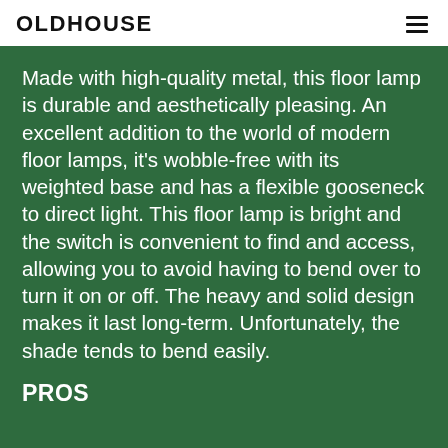OLDHOUSE
Made with high-quality metal, this floor lamp is durable and aesthetically pleasing. An excellent addition to the world of modern floor lamps, it’s wobble-free with its weighted base and has a flexible gooseneck to direct light. This floor lamp is bright and the switch is convenient to find and access, allowing you to avoid having to bend over to turn it on or off. The heavy and solid design makes it last long-term. Unfortunately, the shade tends to bend easily.
PROS